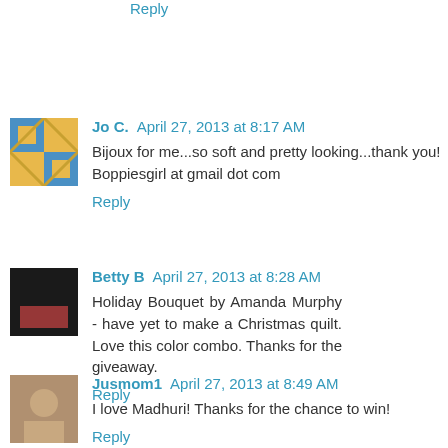Reply
Jo C.  April 27, 2013 at 8:17 AM
Bijoux for me...so soft and pretty looking...thank you! Boppiesgirl at gmail dot com
Reply
Betty B  April 27, 2013 at 8:28 AM
Holiday Bouquet by Amanda Murphy - have yet to make a Christmas quilt. Love this color combo. Thanks for the giveaway.
Reply
Jusmom1  April 27, 2013 at 8:49 AM
I love Madhuri! Thanks for the chance to win!
Reply